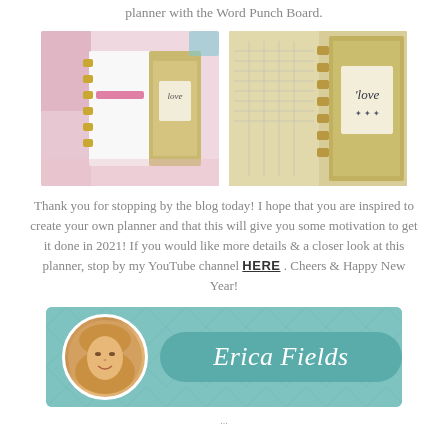planner with the Word Punch Board.
[Figure (photo): Two photos side by side showing a handmade planner with floral/gold cover and 'love' text, one showing the full planner spread and one showing the cover closeup]
Thank you for stopping by the blog today! I hope that you are inspired to create your own planner and that this will give you some motivation to get it done in 2021! If you would like more details & a closer look at this planner, stop by my YouTube channel HERE . Cheers & Happy New Year!
[Figure (photo): Signature banner with teal background chevron pattern, circular avatar photo of Erica Fields (blonde woman smiling), and name 'Erica Fields' in italic script on a teal pill/button shape]
...